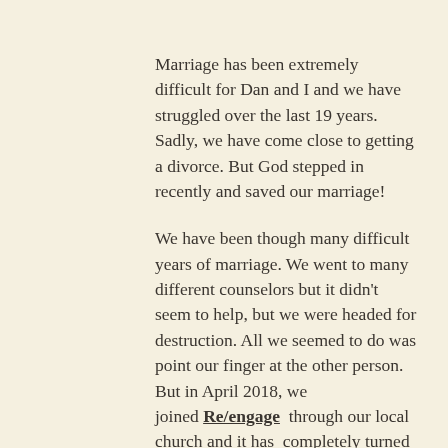Marriage has been extremely difficult for Dan and I and we have struggled over the last 19 years. Sadly, we have come close to getting a divorce. But God stepped in recently and saved our marriage!
We have been though many difficult years of marriage. We went to many different counselors but it didn't seem to help, but we were headed for destruction. All we seemed to do was point our finger at the other person. But in April 2018, we joined Re/engage through our local church and it has completely turned our marriage around!